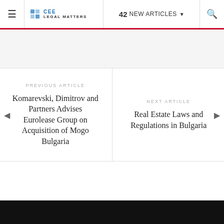42 NEW ARTICLES — CEE Legal Matters
PREVIOUS ARTICLE
Komarevski, Dimitrov and Partners Advises Eurolease Group on Acquisition of Mogo Bulgaria
NEXT ARTICLE
Real Estate Laws and Regulations in Bulgaria
Copyright CEE Legal Matters.